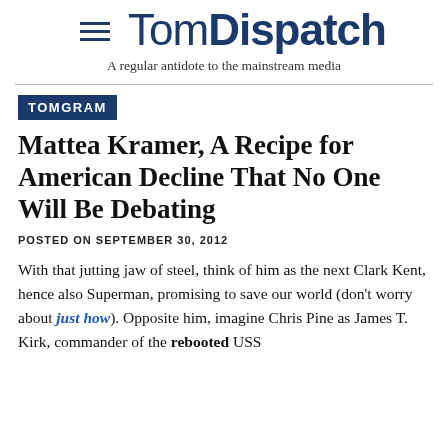TomDispatch — A regular antidote to the mainstream media
TOMGRAM
Mattea Kramer, A Recipe for American Decline That No One Will Be Debating
POSTED ON SEPTEMBER 30, 2012
With that jutting jaw of steel, think of him as the next Clark Kent, hence also Superman, promising to save our world (don't worry about just how). Opposite him, imagine Chris Pine as James T. Kirk, commander of the rebooted USS